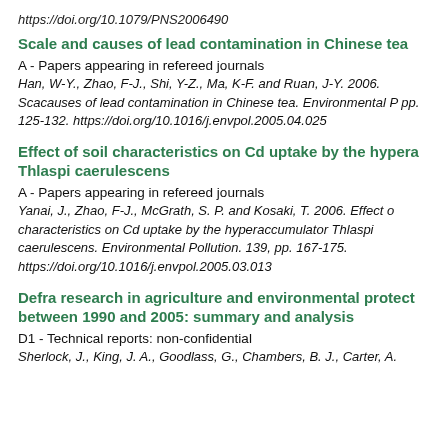https://doi.org/10.1079/PNS2006490
Scale and causes of lead contamination in Chinese tea
A - Papers appearing in refereed journals
Han, W-Y., Zhao, F-J., Shi, Y-Z., Ma, K-F. and Ruan, J-Y. 2006. Scale and causes of lead contamination in Chinese tea. Environmental Pollution. pp. 125-132. https://doi.org/10.1016/j.envpol.2005.04.025
Effect of soil characteristics on Cd uptake by the hyperaccumulator Thlaspi caerulescens
A - Papers appearing in refereed journals
Yanai, J., Zhao, F-J., McGrath, S. P. and Kosaki, T. 2006. Effect of soil characteristics on Cd uptake by the hyperaccumulator Thlaspi caerulescens. Environmental Pollution. 139, pp. 167-175. https://doi.org/10.1016/j.envpol.2005.03.013
Defra research in agriculture and environmental protection between 1990 and 2005: summary and analysis
D1 - Technical reports: non-confidential
Sherlock, J., King, J. A., Goodlass, G., Chambers, B. J., Carter, A.